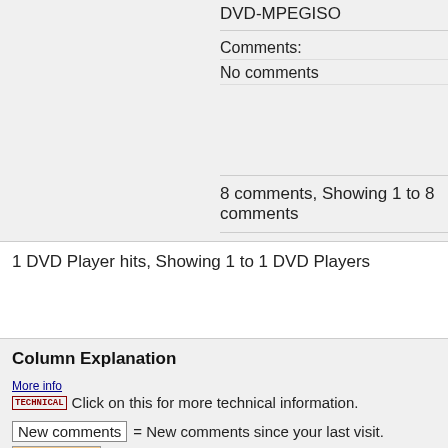DVD-MPEGISO
Comments:
No comments
8 comments, Showing 1 to 8 comments
1 DVD Player hits, Showing 1 to 1 DVD Players
Column Explanation
More info TECHNICAL Click on this for more technical information.
New comments = New comments since your last visit.
New Player = New DVD Player since your last vist.
CDR This medium works